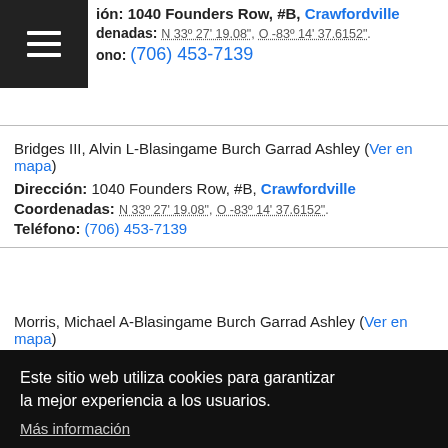Dirección: 1040 Founders Row, #B, Crawfordville
Coordenadas: N 33º 27' 19.08", O -83º 14' 37.6152".
Teléfono: (706) 453-7139
Bridges III, Alvin L-Blasingame Burch Garrad Ashley (Ver en mapa)
Dirección: 1040 Founders Row, #B, Crawfordville
Coordenadas: N 33º 27' 19.08", O -83º 14' 37.6152".
Teléfono: (706) 453-7139
Morris, Michael A-Blasingame Burch Garrad Ashley (Ver en mapa)
Este sitio web utiliza cookies para garantizar la mejor experiencia a los usuarios.
Más información
De acuerdo
Dirección: 114 Nassau Pl, Crawfordville